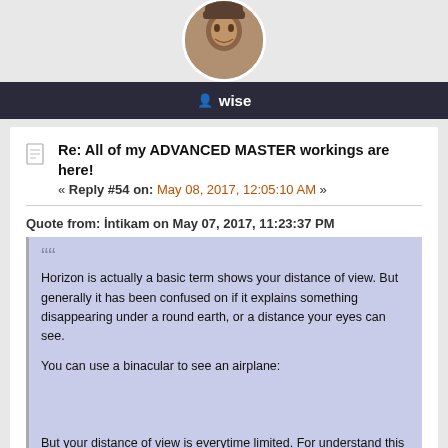[Figure (photo): Circular avatar photo of a person cropped in a round frame]
wise
Re: All of my ADVANCED MASTER workings are here!
« Reply #54 on: May 08, 2017, 12:05:10 AM »
Quote from: İntikam on May 07, 2017, 11:23:37 PM
Horizon is actually a basic term shows your distance of view. But generally it has been confused on if it explains something disappearing under a round earth, or a distance your eyes can see.

You can use a binacular to see an airplane:

But your distance of view is everytime limited. For understand this issue, take a look to the "world curvature calculator".

Planes fly average altitude of 30.000-40.000 feets and we should see them to a distance. But what should be that distance:

As we see that, if horizon caused by earth curvature, or we should to